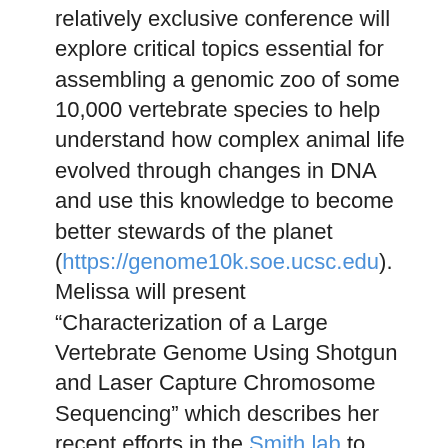relatively exclusive conference will explore critical topics essential for assembling a genomic zoo of some 10,000 vertebrate species to help understand how complex animal life evolved through changes in DNA and use this knowledge to become better stewards of the planet (https://genome10k.soe.ucsc.edu). Melissa will present "Characterization of a Large Vertebrate Genome Using Shotgun and Laser Capture Chromosome Sequencing" which describes her recent efforts in the Smith lab to sequence and assemble the axolotl (Ambystoma mexicanum) genome.
12/15/14- Fellowship
Robin Bagley, a graduate student in the lab of Dr. Catherine Linnen, is the recipient of a two year USDA NIFA fellowship for her project "Testing the host-shift